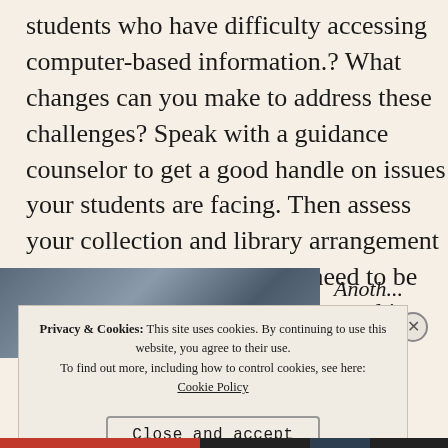students who have difficulty accessing computer-based information.?  What changes can you make to address these challenges? Speak with a guidance counselor to get a good handle on issues your students are facing. Then assess your collection and library arrangement to determine what changes need to be made.  If money is a problem –and it usually is—look for grants to help.
[Figure (photo): Partial photo of a library or classroom interior, partially obscured by cookie consent banner]
Anoth...
Privacy & Cookies: This site uses cookies. By continuing to use this website, you agree to their use.
To find out more, including how to control cookies, see here: Cookie Policy
Close and accept